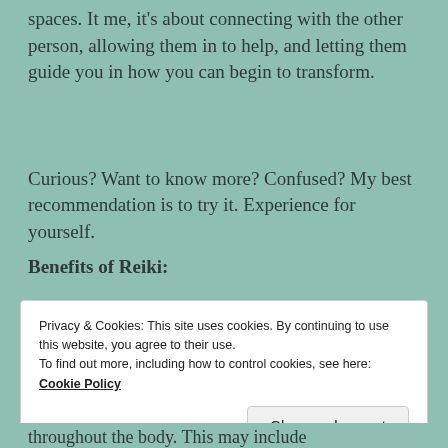spaces. It me, it's about connecting with the other person, allowing them in to help, and letting them guide you in how you can begin to transform.
Curious? Want to know more? Confused? My best recommendation is to try it. Experience for yourself.
Benefits of Reiki:
Privacy & Cookies: This site uses cookies. By continuing to use this website, you agree to their use.
To find out more, including how to control cookies, see here:
Cookie Policy
Close and accept
throughout the body.  This may include